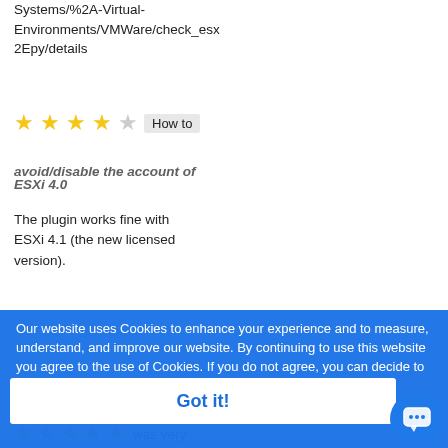Systems/%2A-Virtual-Environments/VMWare/check_esx2Epy/details
★★★★☆ How to avoid/disable the account of ESXi 4.0 The plugin works fine with ESXi 4.1 (the new licensed version).
If you do not want to use the local account, for security reasons, you can...
Our website uses Cookies to enhance your experience and to measure, understand, and improve our website. By continuing to use this website you agree to the use of Cookies. If you do not agree, you can decide to disable Cookies in your web browser.
Learn More About Cookies
Got it!
You have the right to access from the plugin, but the nagios user will not be able to access with the vsphere client, the console and SSH.
★★★★★ was very